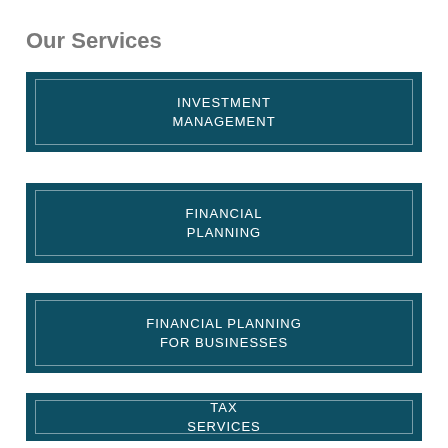Our Services
INVESTMENT MANAGEMENT
FINANCIAL PLANNING
FINANCIAL PLANNING FOR BUSINESSES
TAX SERVICES